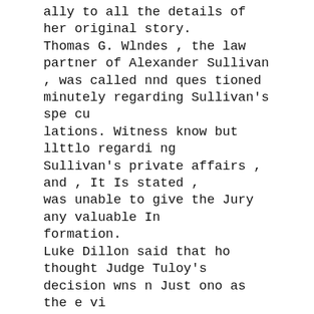ally to all the details of her original story.
Thomas G. Wlndes , the law partner of Alexander Sullivan , was called nnd questioned minutely regarding Sullivan's specu
lations. Witness know but llttlo regarding
Sullivan's private affairs , and , It Is stated ,
was unable to give the Jury any valuable In
formation.
Luke Dillon said that ho thought Judge Tuloy's decision wns n Just ono as the evi
dence before the coroner's Jury was not sufficient to warrant Sullivan being hel
d
without ball. Ho expects tnat an indictm